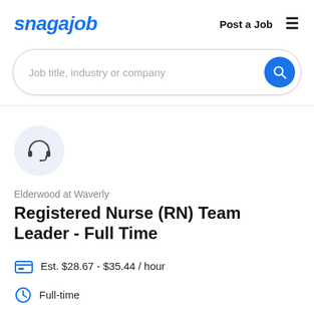snagajob   Post a Job  ☰
Job title, industry or company
[Figure (logo): Headset/call center icon in a light blue-grey circle]
Elderwood at Waverly
Registered Nurse (RN) Team Leader - Full Time
Est. $28.67 - $35.44 / hour
Full-time